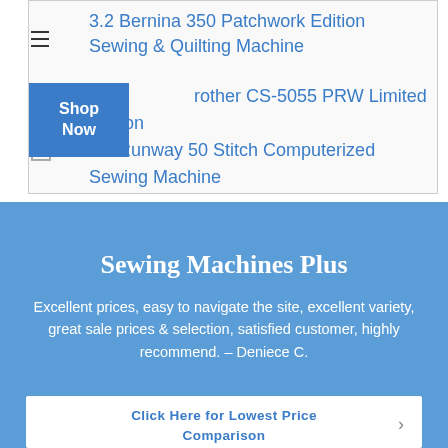3.2 Bernina 350 Patchwork Edition Sewing & Quilting Machine
Brother CS-5055 PRW Limited Edition Project Runway 50 Stitch Computerized Sewing Machine
Sewing Machines Plus
Excellent prices, easy to navigate the site, excellent variety, great sale prices & selection, satisfied customer, highly recommend. – Deniece C.
Click Here for Lowest Price Comparison